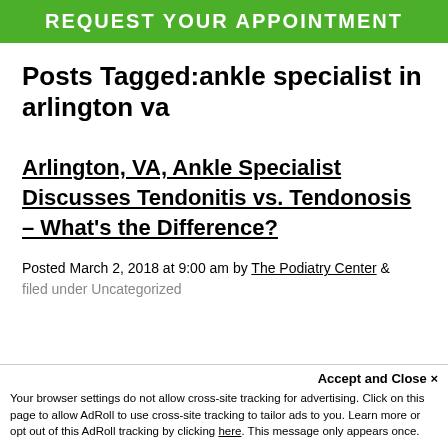REQUEST YOUR APPOINTMENT
Posts Tagged:ankle specialist in arlington va
Arlington, VA, Ankle Specialist Discusses Tendonitis vs. Tendonosis – What's the Difference?
Posted March 2, 2018 at 9:00 am by The Podiatry Center & filed under Uncategorized
Accept and Close ✕
Your browser settings do not allow cross-site tracking for advertising. Click on this page to allow AdRoll to use cross-site tracking to tailor ads to you. Learn more or opt out of this AdRoll tracking by clicking here. This message only appears once.